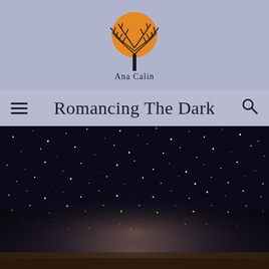[Figure (logo): Ana Calin author logo: a bare tree silhouette in front of a large orange moon, with text 'Ana Calin' below]
Romancing The Dark
[Figure (photo): Night sky photograph showing the Milky Way galaxy with thousands of stars visible against a dark sky, with a lighter glowing band of stars across the center and a reddish-brown landscape at the bottom edge]